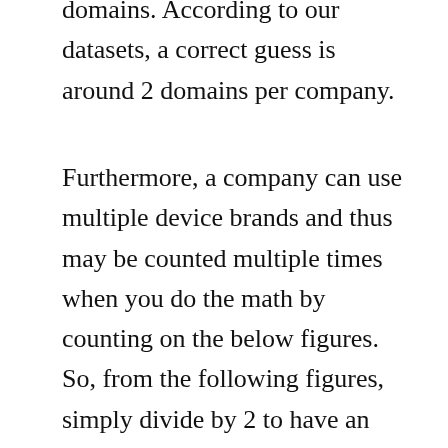domains. According to our datasets, a correct guess is around 2 domains per company.
Furthermore, a company can use multiple device brands and thus may be counted multiple times when you do the math by counting on the below figures. So, from the following figures, simply divide by 2 to have an estimated guess of how many fortune500 and global500 companies are impacted for each vulnerability.